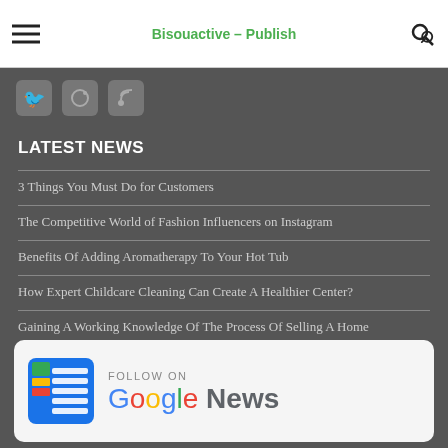Bisouactive – Publish
[Figure (logo): Social media icons: Twitter, Pinterest, RSS feed]
LATEST NEWS
3 Things You Must Do for Customers
The Competitive World of Fashion Influencers on Instagram
Benefits Of Adding Aromatherapy To Your Hot Tub
How Expert Childcare Cleaning Can Create A Healthier Center?
Gaining A Working Knowledge Of The Process Of Selling A Home
[Figure (logo): Follow on Google News banner with Google News logo]